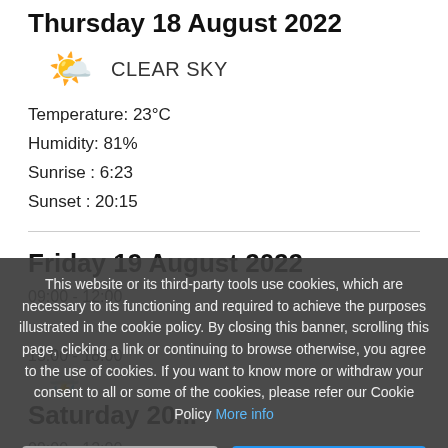Thursday 18 August 2022
[Figure (illustration): Sun emoji icon indicating clear sky weather]
CLEAR SKY
Temperature: 23°C
Humidity: 81%
Sunrise : 6:23
Sunset : 20:15
Friday 19 August 2022
09:00 - 12:00
15:00 - 18:00
[Figure (illustration): Rain/storm icon for Friday 15:00-18:00 weather]
Saturday 20...
09:00 - 12:00
This website or its third-party tools use cookies, which are necessary to its functioning and required to achieve the purposes illustrated in the cookie policy. By closing this banner, scrolling this page, clicking a link or continuing to browse otherwise, you agree to the use of cookies. If you want to know more or withdraw your consent to all or some of the cookies, please refer our Cookie Policy More info
Refuse Cookies
Accept Cookies